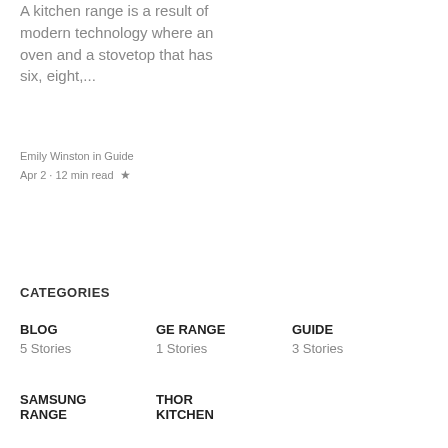A kitchen range is a result of modern technology where an oven and a stovetop that has six, eight,...
Emily Winston in Guide
Apr 2 · 12 min read ★
CATEGORIES
BLOG
5 Stories
GE RANGE
1 Stories
GUIDE
3 Stories
SAMSUNG RANGE
THOR KITCHEN